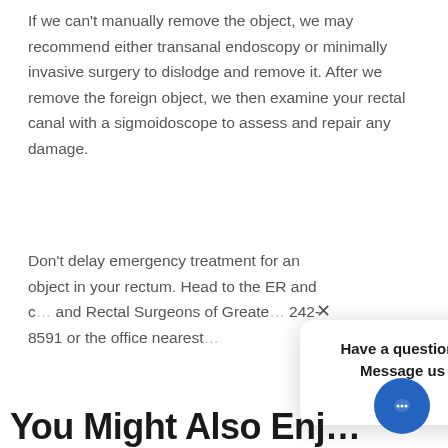If we can't manually remove the object, we may recommend either transanal endoscopy or minimally invasive surgery to dislodge and remove it. After we remove the foreign object, we then examine your rectal canal with a sigmoidoscope to assess and repair any damage.
Don't delay emergency treatment for an object in your rectum. Head to the ER and c… and Rectal Surgeons of Greate… 242-8591 or the office nearest…
[Figure (other): Chat widget popup with close (X) button and text 'Have a question? Message us here!' with a blue circular chat button in the bottom right corner.]
You Might Also Enj…